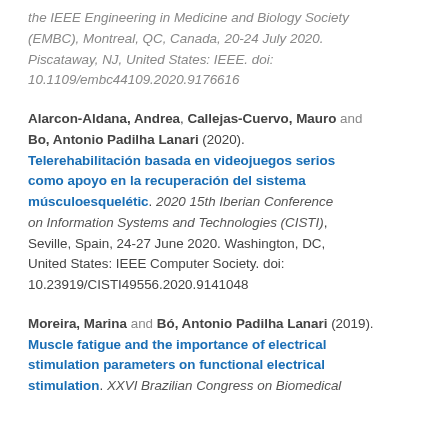the IEEE Engineering in Medicine and Biology Society (EMBC), Montreal, QC, Canada, 20-24 July 2020. Piscataway, NJ, United States: IEEE. doi: 10.1109/embc44109.2020.9176616
Alarcon-Aldana, Andrea, Callejas-Cuervo, Mauro and Bo, Antonio Padilha Lanari (2020). Telerehabilitación basada en videojuegos serios como apoyo en la recuperación del sistema músculoesquelétic. 2020 15th Iberian Conference on Information Systems and Technologies (CISTI), Seville, Spain, 24-27 June 2020. Washington, DC, United States: IEEE Computer Society. doi: 10.23919/CISTI49556.2020.9141048
Moreira, Marina and Bó, Antonio Padilha Lanari (2019). Muscle fatigue and the importance of electrical stimulation parameters on functional electrical stimulation. XXVI Brazilian Congress on Biomedical